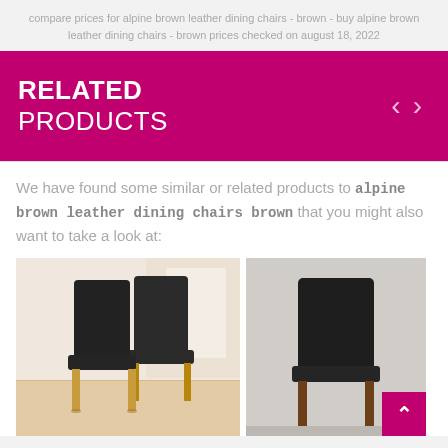compare prices for alpine brown leather dining chairs - brown - buy alpine brown leather dining chairs - brown prices checked on august 18, 2022
RELATED PRODUCTS
We have found some similar or related products to alpine brown leather dining chairs brown that you might also want to take a look at:
[Figure (photo): Two dark brown/black leather dining chairs with light wood legs on a light wood floor, in a bright room]
[Figure (photo): Single dark brown/black leather dining chair with dark wood legs on a grey background]